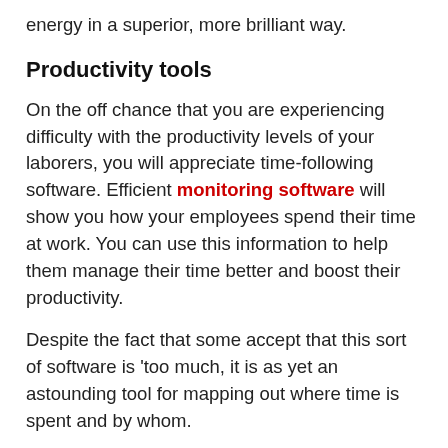energy in a superior, more brilliant way.
Productivity tools
On the off chance that you are experiencing difficulty with the productivity levels of your laborers, you will appreciate time-following software. Efficient monitoring software will show you how your employees spend their time at work. You can use this information to help them manage their time better and boost their productivity.
Despite the fact that some accept that this sort of software is 'too much, it is as yet an astounding tool for mapping out where time is spent and by whom.
Communication/collaboration software
There are so numerous projects that you can use to share documents effectively, talk with your associates,